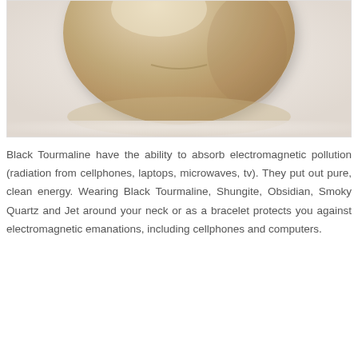[Figure (photo): Close-up photo of a gold/beige colored stone or crystal (Black Tourmaline or similar mineral) on a light gray/white background]
Black Tourmaline have the ability to absorb electromagnetic pollution (radiation from cellphones, laptops, microwaves, tv). They put out pure, clean energy. Wearing Black Tourmaline, Shungite, Obsidian, Smoky Quartz and Jet around your neck or as a bracelet protects you against electromagnetic emanations, including cellphones and computers.